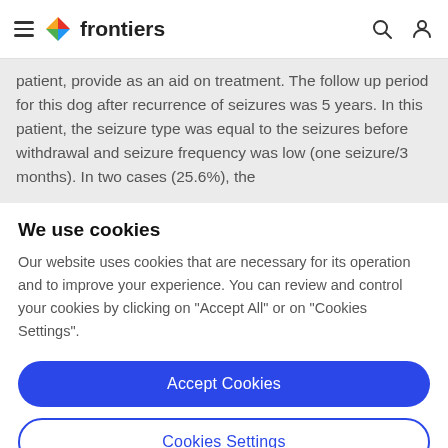frontiers
patient, provide as an aid on treatment. The follow up period for this dog after recurrence of seizures was 5 years. In this patient, the seizure type was equal to the seizures before withdrawal and seizure frequency was low (one seizure/3 months). In two cases (25.6%), the
We use cookies
Our website uses cookies that are necessary for its operation and to improve your experience. You can review and control your cookies by clicking on "Accept All" or on "Cookies Settings".
Accept Cookies
Cookies Settings